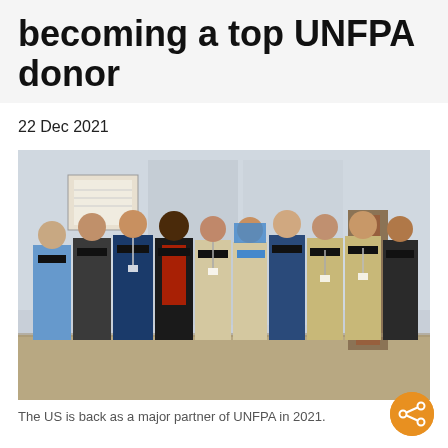becoming a top UNFPA donor
22 Dec 2021
[Figure (photo): Group of approximately ten people wearing masks and standing in front of a building. Some wear khaki field vests with lanyards, one person wears blue scrubs on the left, one person in the center wears a red scarf and dark clothing. American and EU flags are visible on the wall behind them.]
The US is back as a major partner of UNFPA in 2021.